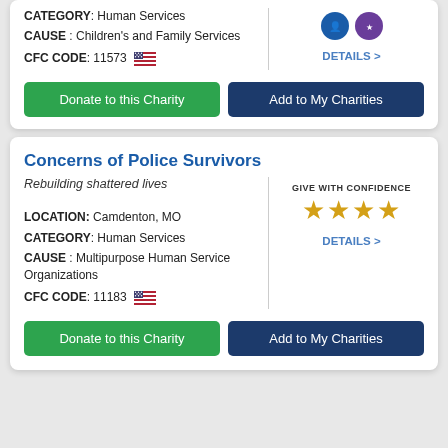CATEGORY: Human Services
CAUSE : Children's and Family Services
CFC CODE: 11573
DETAILS >
Donate to this Charity
Add to My Charities
Concerns of Police Survivors
Rebuilding shattered lives
GIVE WITH CONFIDENCE
★★★★
DETAILS >
LOCATION: Camdenton, MO
CATEGORY: Human Services
CAUSE : Multipurpose Human Service Organizations
CFC CODE: 11183
Donate to this Charity
Add to My Charities